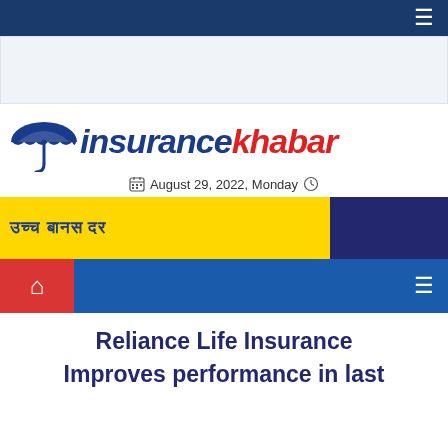≡
[Figure (other): Advertisement banner placeholder area (light grey)]
[Figure (logo): InsuranceKhabar logo with umbrella icon. 'insurance' in dark blue italic bold, 'khabar' in red italic bold.]
August 29, 2022, Monday
[Figure (other): Promotional banner: yellow section with Devanagari text 'उच्च बानस दर' in dark blue bold, right section in dark navy blue.]
≡
Reliance Life Insurance Improves performance in last